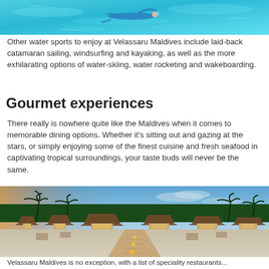[Figure (photo): Aerial view of a person snorkeling in clear turquoise water]
Other water sports to enjoy at Velassaru Maldives include laid-back catamaran sailing, windsurfing and kayaking, as well as the more exhilarating options of water-skiing, water rocketing and wakeboarding.
Gourmet experiences
There really is nowhere quite like the Maldives when it comes to memorable dining options. Whether it's sitting out and gazing at the stars, or simply enjoying some of the finest cuisine and fresh seafood in captivating tropical surroundings, your taste buds will never be the same.
[Figure (photo): Twilight beach resort scene at Velassaru Maldives with thatched-roof restaurants, glowing lanterns on sandy path, palm trees and blue sky in background]
Velassaru Maldives is no exception, with a list of speciality restaurants...